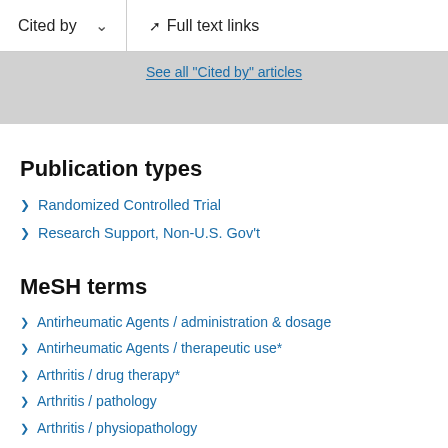Cited by  ∨  Full text links
See all "Cited by" articles
Publication types
Randomized Controlled Trial
Research Support, Non-U.S. Gov't
MeSH terms
Antirheumatic Agents / administration & dosage
Antirheumatic Agents / therapeutic use*
Arthritis / drug therapy*
Arthritis / pathology
Arthritis / physiopathology
Clinical Competence
Double-Blind Method